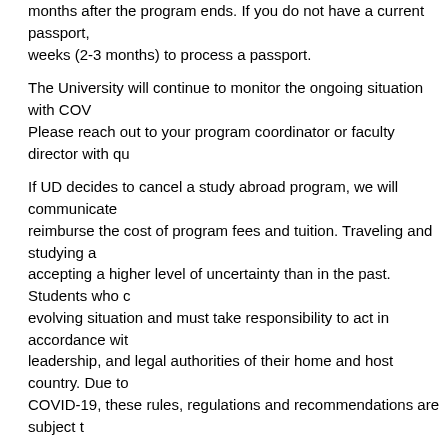months after the program ends. If you do not have a current passport, it takes 8-11 weeks (2-3 months) to process a passport.
The University will continue to monitor the ongoing situation with COVID-19. Please reach out to your program coordinator or faculty director with questions.
If UD decides to cancel a study abroad program, we will communicate and reimburse the cost of program fees and tuition. Traveling and studying abroad accepting a higher level of uncertainty than in the past. Students who choose to go evolving situation and must take responsibility to act in accordance with university leadership, and legal authorities of their home and host country. Due to the nature of COVID-19, these rules, regulations and recommendations are subject to change.
Program Description
Spend Winter Session 2023 studying beverage management and International... take us to summer in Sydney's idyllic Manly Beach, Australia where you... shaped the Nation's culture and cuisine.
We will explore the cultures of Australia to underscore the importance of... Southern Highlands and Hunter Valley wine regions, the Blue Mountains... tastings and education. Other activities include Afternoon Tea, Cricket match, Harbour Bridge Climb, to name a few. With the diverse cultures and lifestyles, relationship between wines, cuisine, and culture. You will have the opportunity and other cultures on the Pacific Rim.